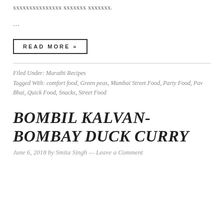xxxxxxxxxxxxxxx xxxxxxx xxxxxxx.
...
READ MORE »
Filed Under: Marathi Recipes
Tagged With: comfort food, Green peas, Mumbai Street Food, Party Food, Pav Bhai, Quick Food, Snacks, Street Food
BOMBIL KALVAN-BOMBAY DUCK CURRY
June 6, 2018 by Smita Singh — Leave a Comment